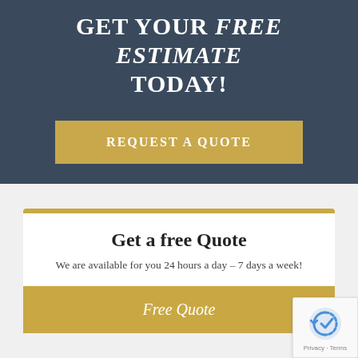GET YOUR FREE ESTIMATE TODAY!
REQUEST A QUOTE
Get a free Quote
We are available for you 24 hours a day – 7 days a week!
Free Quote